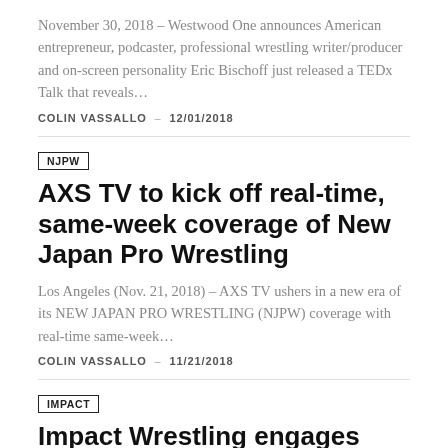November 30, 2018 – Westwood One announces American entrepreneur, podcaster, professional wrestling writer/producer and on-screen personality Eric Bischoff just released a TEDx Talk that reveals…
COLIN VASSALLO – 12/01/2018
NJPW
AXS TV to kick off real-time, same-week coverage of New Japan Pro Wrestling
Los Angeles (Nov. 21, 2018) – AXS TV ushers in a new era of its NEW JAPAN PRO WRESTLING (NJPW) coverage with real-time same-week…
COLIN VASSALLO – 11/21/2018
IMPACT
Impact Wrestling engages Kings Highway Media to help expand